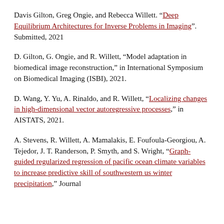Davis Gilton, Greg Ongie, and Rebecca Willett. "Deep Equilibrium Architectures for Inverse Problems in Imaging". Submitted, 2021
D. Gilton, G. Ongie, and R. Willett, "Model adaptation in biomedical image reconstruction," in International Symposium on Biomedical Imaging (ISBI), 2021.
D. Wang, Y. Yu, A. Rinaldo, and R. Willett, "Localizing changes in high-dimensional vector autoregressive processes," in AISTATS, 2021.
A. Stevens, R. Willett, A. Mamalakis, E. Foufoula-Georgiou, A. Tejedor, J. T. Randerson, P. Smyth, and S. Wright, "Graph-guided regularized regression of pacific ocean climate variables to increase predictive skill of southwestern us winter precipitation," Journal